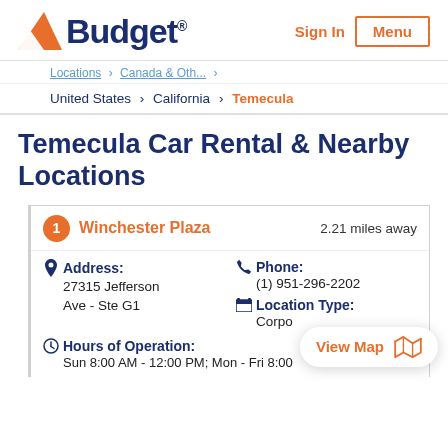[Figure (logo): Budget car rental logo with orange triangle and dark blue text]
Sign In
Menu
Locations > Canada & Oth...
United States > California > Temecula
Temecula Car Rental & Nearby Locations
1 Winchester Plaza 2.21 miles away
Address: 27315 Jefferson Ave - Ste G1
Phone: (1) 951-296-2202
Location Type: Corpo
Hours of Operation: Sun 8:00 AM - 12:00 PM; Mon - Fri 8:00
View Map